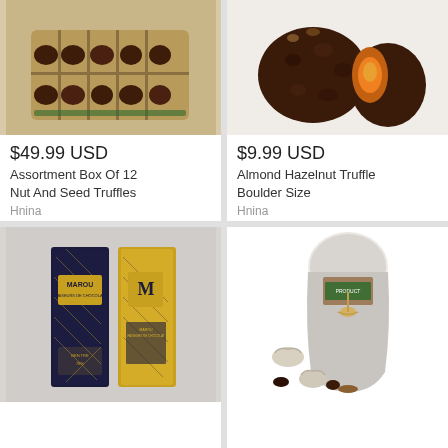[Figure (photo): Box of 12 chocolate nut and seed truffles in paper cups]
$49.99 USD
Assortment Box Of 12 Nut And Seed Truffles
Hnina
No reviews
[Figure (photo): Almond hazelnut truffle boulder size, whole and cut in half showing orange interior]
$9.99 USD
Almond Hazelnut Truffle Boulder Size
Hnina
No reviews
[Figure (photo): Two Marou chocolate bars in black and gold packaging]
[Figure (photo): Clear bag of wrapped chocolate candies with dates and chocolates around it]